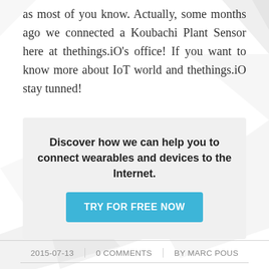as most of you know. Actually, some months ago we connected a Koubachi Plant Sensor here at thethings.iO's office! If you want to know more about IoT world and thethings.iO stay tunned!
Discover how we can help you to connect wearables and devices to the Internet. TRY FOR FREE NOW
2015-07-13 | 0 COMMENTS | BY MARC POUS